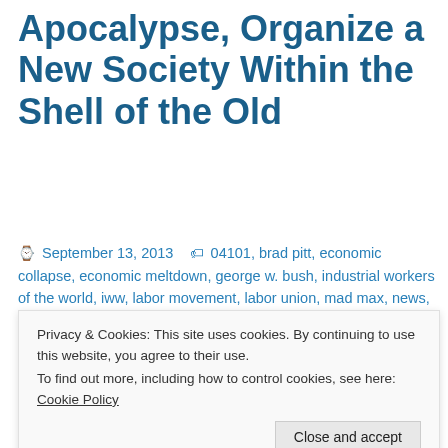Apocalypse, Organize a New Society Within the Shell of the Old
September 13, 2013  04101, brad pitt, economic collapse, economic meltdown, george w. bush, industrial workers of the world, iww, labor movement, labor union, mad max, news, politics, Portland Maine, society, Southern Maine, survivalism, the bailout, workers' rights, world war z, zombie apocalypse
by
[Figure (photo): Partial photo visible behind cookie banner, showing dark cinematic scene]
Privacy & Cookies: This site uses cookies. By continuing to use this website, you agree to their use.
To find out more, including how to control cookies, see here: Cookie Policy
Close and accept